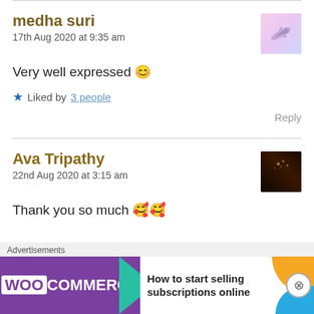medha suri
17th Aug 2020 at 9:35 am
[Figure (photo): Avatar image showing airplane silhouette on pink/purple gradient background]
Very well expressed 😊
★ Liked by 3 people
Reply
Ava Tripathy
22nd Aug 2020 at 3:15 am
[Figure (photo): Avatar image showing dark background with bokeh lights]
Thank you so much 🥰🥰
[Figure (screenshot): WooCommerce advertisement banner: How to start selling subscriptions online]